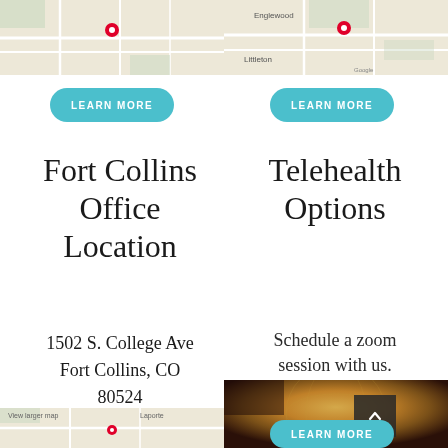[Figure (map): Google map showing left location with markers]
[Figure (map): Google map showing Englewood/Littleton area with markers]
LEARN MORE
LEARN MORE
Fort Collins Office Location
Telehealth Options
1502 S. College Ave
Fort Collins, CO
80524
Schedule a zoom session with us.
[Figure (map): Partial Google map bottom left for Fort Collins]
[Figure (photo): Globe or world map photo for telehealth]
LEARN MORE